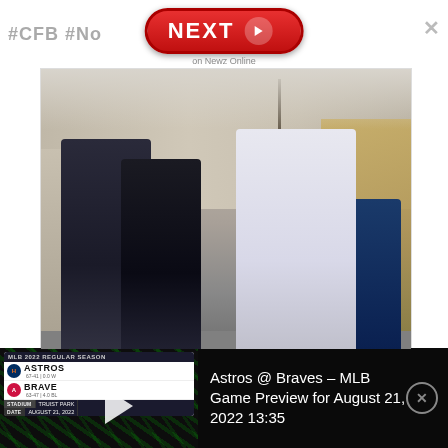#CFB #No
[Figure (other): Red 'NEXT' button with right arrow, labeled 'on Newz Online']
[Figure (photo): Outdoor photo showing several people walking; a man in a light gray/white shirt is prominent in the foreground, with others in dark jackets behind him, bare trees and buildings in background]
[Figure (screenshot): MLB 2022 Regular Season game card showing Astros vs Braves, Stadium: Truist Park, Date: August 21, 2022, with play button overlay and green ray background effects]
Astros @ Braves – MLB Game Preview for August 21, 2022 13:35